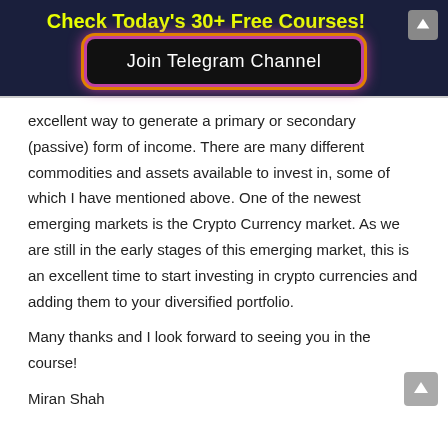Check Today's 30+ Free Courses!
[Figure (other): Join Telegram Channel button with glowing purple/orange border on dark background]
excellent way to generate a primary or secondary (passive) form of income. There are many different commodities and assets available to invest in, some of which I have mentioned above. One of the newest emerging markets is the Crypto Currency market. As we are still in the early stages of this emerging market, this is an excellent time to start investing in crypto currencies and adding them to your diversified portfolio.
Many thanks and I look forward to seeing you in the course!
Miran Shah